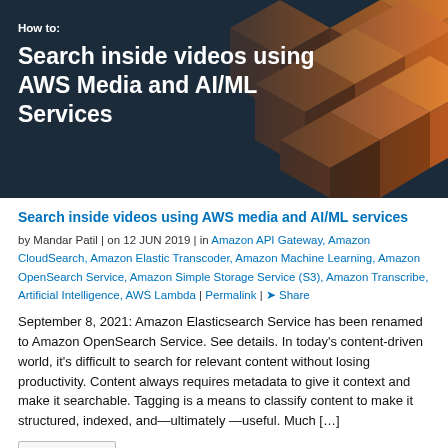[Figure (illustration): Hero banner with dark navy/blue background and 3D orange geometric cube shapes on the right side. White bold text on left reads 'How to:' and 'Search inside videos using AWS Media and AI/ML Services'.]
Search inside videos using AWS media and AI/ML services
by Mandar Patil | on 12 JUN 2019 | in Amazon API Gateway, Amazon CloudSearch, Amazon Elastic Transcoder, Amazon Machine Learning, Amazon OpenSearch Service, Amazon Simple Storage Service (S3), Amazon Transcribe, Artificial Intelligence, AWS Lambda | Permalink | Share
September 8, 2021: Amazon Elasticsearch Service has been renamed to Amazon OpenSearch Service. See details. In today's content-driven world, it's difficult to search for relevant content without losing productivity. Content always requires metadata to give it context and make it searchable. Tagging is a means to classify content to make it structured, indexed, and—ultimately—useful. Much […]
Read More